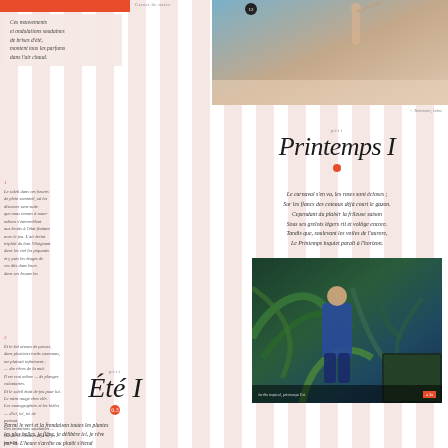Carnet de notes
[Figure (photo): Tennis court scene with person holding racket, summery outdoor setting]
Ces mouvements et ondulations soudaines de brises d'été, montent tous les parfums dans l'air chaud.
Printemps I
Le carnaval s'en va, les roses sont écloses ; Sur les flancs des coteaux déjà court le gazon. Cependant du plaisir la frileuse saison Sous ses grelots légers rit et voltige encore. Tandis que, soulevant les voiles de l'aurore, Le Printemps inquiet paraît à l'horizon.
[Figure (photo): Man in blue suit standing among tropical green plants/ferns, lush foliage]
Le soleil dans ces heures de plein sommeil, où les discours sans suite que nous tenons à nous-mêmes s'entremêlent aux bruits...
Et le bel oiseau de parure, dans plusieurs traits communs, me plaisait infiniment ; — des rêves de la nuit... Il est vrai même — de plonges volontaires. Et le soleil était de feu pour lui. Le mien rouge chez elle. Les monographies et les hièles — d'ici, ici, ici de partout. Desitations soudaines — Oui de si l'amour déjà vu je la bias. L'acquit Sinon dans les deux, Si vous êtes compliqués, les tout-puissants viront v...
Été I
Parmi le vert et la frondaison toutes les plantes les plus belles, je flâne, je délibère ici, je rêve par là. L'heure s'arrête ou plutôt s'étend